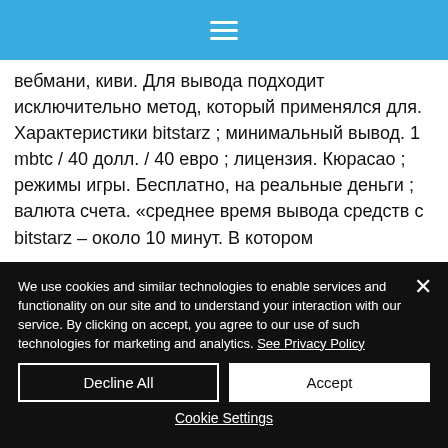[Figure (screenshot): Blue navigation bar with hamburger menu icon (three white horizontal lines)]
вебмани, киви. Для вывода подходит исключительно метод, который применялся для. Характеристики bitstarz ; минимальный вывод. 1 mbtc / 40 долл. / 40 евро ; лицензия. Кюрасао ; режимы игры. Бесплатно, на реальные деньги ; валюта счета. «среднее время вывода средств с bitstarz – около 10 минут. В котором
We use cookies and similar technologies to enable services and functionality on our site and to understand your interaction with our service. By clicking on accept, you agree to our use of such technologies for marketing and analytics. See Privacy Policy
Decline All
Accept
Cookie Settings